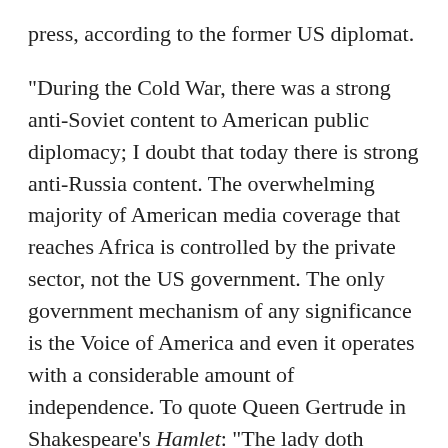press, according to the former US diplomat.
“During the Cold War, there was a strong anti-Soviet content to American public diplomacy; I doubt that today there is strong anti-Russia content. The overwhelming majority of American media coverage that reaches Africa is controlled by the private sector, not the US government. The only government mechanism of any significance is the Voice of America and even it operates with a considerable amount of independence. To quote Queen Gertrude in Shakespeare’s Hamlet: “The lady doth protest too much, methinks,” wrote Shinn.
Punsara Amarasinghe, a former Research Fellow at the Faculty of Law, Higher School of Economics in Moscow, and now a PhD candidate in International Law at the Sant’Anna School of Advanced Studies in